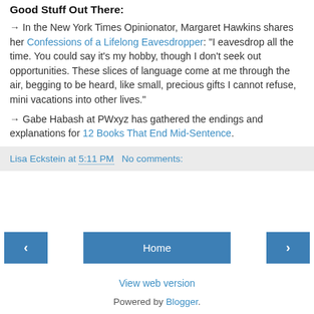Good Stuff Out There:
→ In the New York Times Opinionator, Margaret Hawkins shares her Confessions of a Lifelong Eavesdropper: "I eavesdrop all the time. You could say it's my hobby, though I don't seek out opportunities. These slices of language come at me through the air, begging to be heard, like small, precious gifts I cannot refuse, mini vacations into other lives."
→ Gabe Habash at PWxyz has gathered the endings and explanations for 12 Books That End Mid-Sentence.
Lisa Eckstein at 5:11 PM   No comments:
Home
View web version
Powered by Blogger.